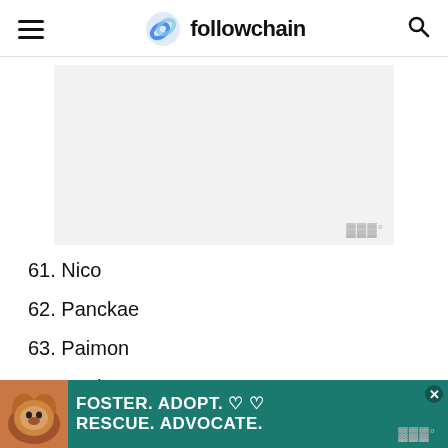followchain
[Figure (other): Advertisement placeholder block, light gray background with watermark symbol in bottom right]
61. Nico
62. Panckae
63. Paimon
64. Peaky
65. Phishy
[Figure (other): Bottom advertisement banner: teal background with dog image on left and text FOSTER. ADOPT. RESCUE. ADVOCATE. in white bold text with heart symbols and close button]